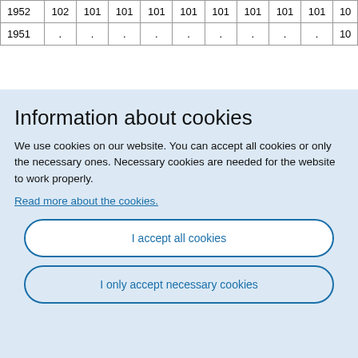|  |  |  |  |  |  |  |  |  |  | 10 |
| --- | --- | --- | --- | --- | --- | --- | --- | --- | --- | --- |
| 1952 | 102 | 101 | 101 | 101 | 101 | 101 | 101 | 101 | 101 | 10 |
| 1951 | . | . | . | . | . | . | . | . | . | 10 |
Information about cookies
We use cookies on our website. You can accept all cookies or only the necessary ones. Necessary cookies are needed for the website to work properly.
Read more about the cookies.
I accept all cookies
I only accept necessary cookies